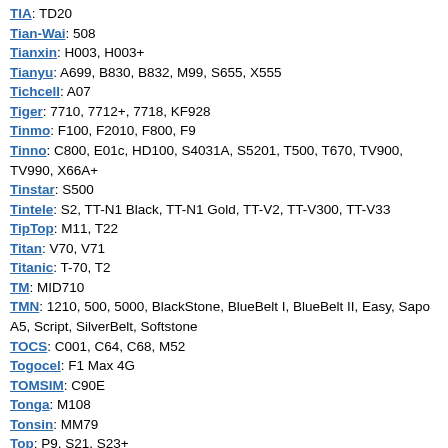TIA: TD20
Tian-Wai: 508
Tianxin: H003, H003+
Tianyu: A699, B830, B832, M99, S655, X555
Tichcell: A07
Tiger: 7710, 7712+, 7718, KF928
Tinmo: F100, F2010, F800, F9
Tinno: C800, E01c, HD100, S4031A, S5201, T500, T670, TV900, TV990, X66A+
Tinstar: S500
Tintele: S2, TT-N1 Black, TT-N1 Gold, TT-V2, TT-V300, TT-V33
TipTop: M11, T22
Titan: V70, V71
Titanic: T-70, T2
TM: MID710
TMN: 1210, 500, 5000, BlackStone, BlueBelt I, BlueBelt II, Easy, Sapo A5, Script, SilverBelt, Softstone
TOCS: C001, C64, C68, M52
Togocel: F1 Max 4G
TOMSIM: C90E
Tonga: M108
Tonsin: MM79
Top: P9, S21, S23+
Top1: V366
Torque: D80, D90, Droidz EAS
Tosello: Spatola
Toshiba: TS10, TS30, TS608
Toshibo: Q300, V118, V8, V9+
Touch: 568, D300
Touch-Diamond: Hi7
TouchMate: e-Tab TM-MID-710, TM-MID-712, TM-MID-755
TouchPhone: i9